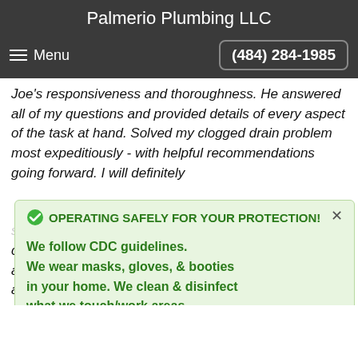Palmerio Plumbing LLC
Menu   (484) 284-1985
Joe's responsiveness and thoroughness. He answered all of my questions and provided details of every aspect of the task at hand. Solved my clogged drain problem most expeditiously - with helpful recommendations going forward. I will definitely
OPERATING SAFELY FOR YOUR PROTECTION!
We follow CDC guidelines.
We wear masks, gloves, & booties in your home. We clean & disinfect what we touch/work areas.
competent. Came within a few days. Everything fixed and running smoothly. No drips. I will gladly use him again for any future plumbing needs"